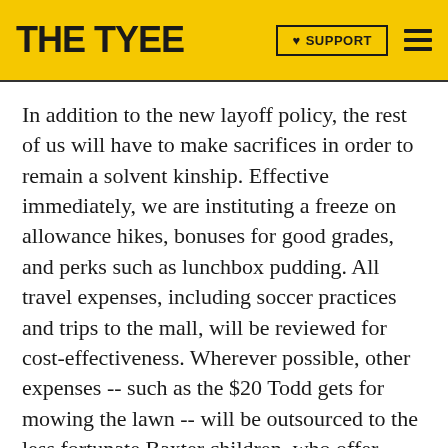THE TYEE | ♥ SUPPORT
In addition to the new layoff policy, the rest of us will have to make sacrifices in order to remain a solvent kinship. Effective immediately, we are instituting a freeze on allowance hikes, bonuses for good grades, and perks such as lunchbox pudding. All travel expenses, including soccer practices and trips to the mall, will be reviewed for cost-effectiveness. Wherever possible, other expenses -- such as the $20 Todd gets for mowing the lawn -- will be outsourced to the less fortunate Baxter children, who offer better rates with minimal decline in quality.
Since Rebecca is an infant, and thus incapable of independent mastication, she will receive special